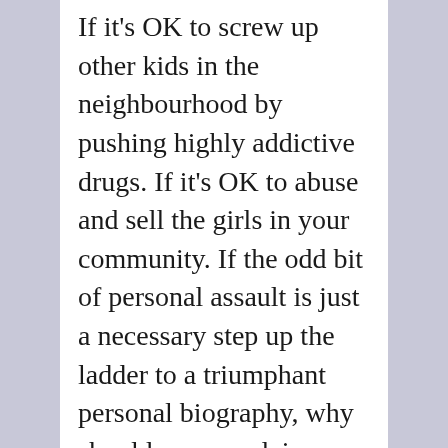If it's OK to screw up other kids in the neighbourhood by pushing highly addictive drugs. If it's OK to abuse and sell the girls in your community. If the odd bit of personal assault is just a necessary step up the ladder to a triumphant personal biography, why should we complain about financial wizards looting companies and scamming people into long term debt? What's wrong with calling up armed police to beat OccupyMovement protesters? Why shouldn't the hustlers of the 1% do whatever it takes to maintain their position and push